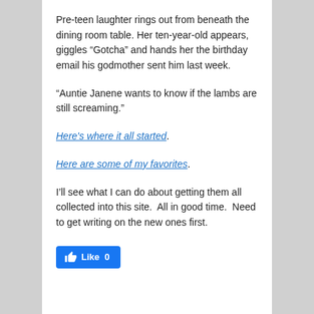Pre-teen laughter rings out from beneath the dining room table. Her ten-year-old appears, giggles “Gotcha” and hands her the birthday email his godmother sent him last week.
“Auntie Janene wants to know if the lambs are still screaming.”
Here’s where it all started.
Here are some of my favorites.
I’ll see what I can do about getting them all collected into this site.  All in good time.  Need to get writing on the new ones first.
[Figure (other): Facebook Like button showing thumbs up icon and Like label with count 0]